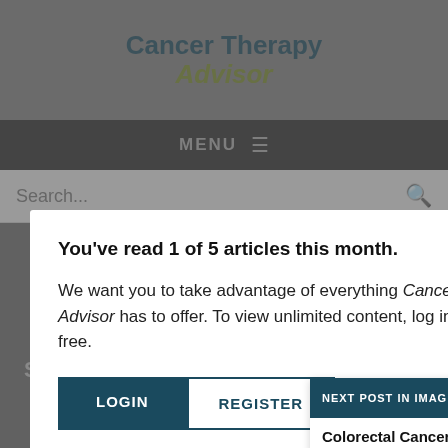Cancer Therapy Advisor
[Figure (screenshot): Website navigation bar with MENU text and hamburger icon on dark background]
[Figure (screenshot): Search bar with placeholder text 'Search...' and magnifying glass icon]
You've read 1 of 5 articles this month.
We want you to take advantage of everything Cancer Therapy Advisor has to offer. To view unlimited content, log in or register for free.
LOGIN
REGISTER
NEXT POST IN IMAGING
Colorectal Cancer
*E-mail Address